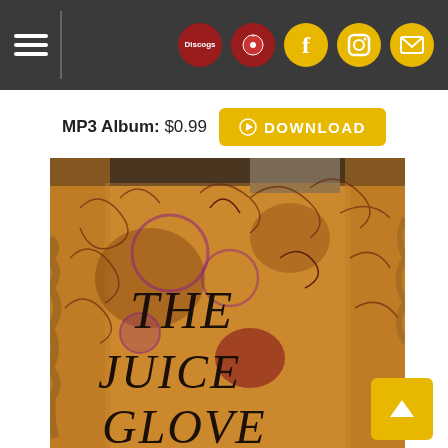Navigation bar with hamburger menu and social icons (Discogs, music, Facebook, Instagram, mail)
MP3 Album: $0.99  DOWNLOAD
[Figure (photo): Album cover art showing a weathered cardboard piece with handwritten text reading 'THE JUICE GLOVE', decorated with dark swirl and floral patterns, stained and worn, with tape visible at top.]